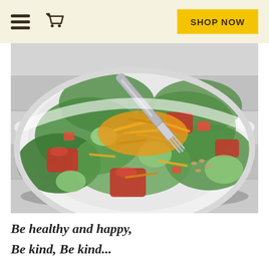Shop Now
[Figure (photo): A white bowl filled with a fresh garden salad containing green lettuce leaves, red tomato chunks, cucumber pieces, shredded orange cheddar cheese, and seeds, with a silver fork resting in the bowl. The bowl sits on a white wooden surface.]
Be healthy and happy,
Be kind, Be kind...